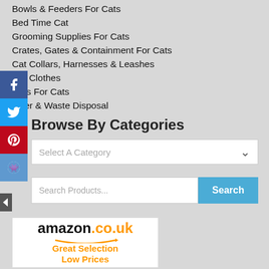Bowls & Feeders For Cats
Bed Time Cat
Grooming Supplies For Cats
Crates, Gates & Containment For Cats
Cat Collars, Harnesses & Leashes
Cat Clothes
Toys For Cats
Litter & Waste Disposal
Browse By Categories
[Figure (screenshot): Dropdown selector with 'Select A Category' placeholder and chevron]
[Figure (screenshot): Search bar with 'Search Products...' placeholder and blue Search button]
[Figure (screenshot): Amazon.co.uk advertisement banner showing logo, arrow, and 'Great Selection Low Prices' tagline in orange]